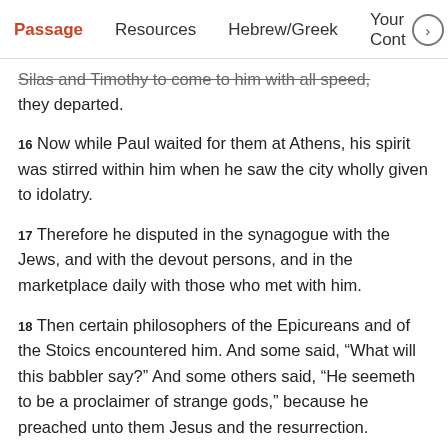Passage   Resources   Hebrew/Greek   Your Cont >
Silas and Timothy to come to him with all speed, they departed.
16 Now while Paul waited for them at Athens, his spirit was stirred within him when he saw the city wholly given to idolatry.
17 Therefore he disputed in the synagogue with the Jews, and with the devout persons, and in the marketplace daily with those who met with him.
18 Then certain philosophers of the Epicureans and of the Stoics encountered him. And some said, “What will this babbler say?” And some others said, “He seemeth to be a proclaimer of strange gods,” because he preached unto them Jesus and the resurrection.